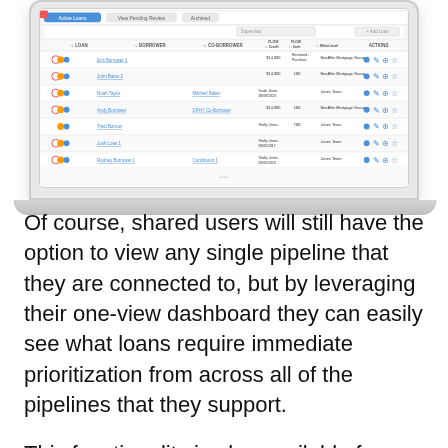[Figure (screenshot): Laptop showing a loan pipeline dashboard with columns for LOAN, BORROWER, CO-BORROWER, FLOW Credit, FLOW Limit, Elliott-level, and ACTIONS. Multiple rows of loan data are visible with colored status icons.]
Of course, shared users will still have the option to view any single pipeline that they are connected to, but by leveraging their one-view dashboard they can easily see what loans require immediate prioritization from across all of the pipelines that they support.
This functionality is also available for